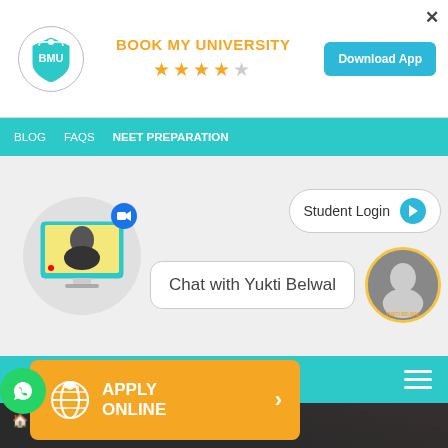[Figure (screenshot): App banner with Book My University logo, title, star rating, and Download App button]
BLOG   FAQS   NEET PREPARATION
[Figure (illustration): Video call illustration with monitor showing a woman, zoom badge, Student Login button, and Chat with Yukti Belwal bubble with avatar]
[Figure (screenshot): Teal navigation bar with hamburger menu icon]
🏠 > University > University of Florence
[Figure (infographic): Orange Apply Online button with globe icon and WhatsApp icon]